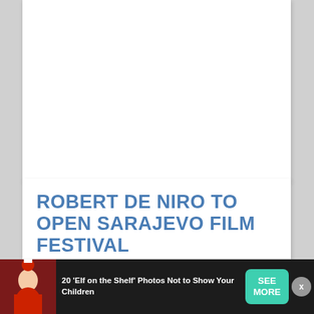[Figure (photo): Large white image area, top card, mostly blank white space]
ROBERT DE NIRO TO OPEN SARAJEVO FILM FESTIVAL
[Figure (photo): Second card, partially visible at bottom, white background]
[Figure (photo): Advertisement banner at bottom: 20 Elf on the Shelf Photos Not to Show Your Children, with SEE MORE button and close X button]